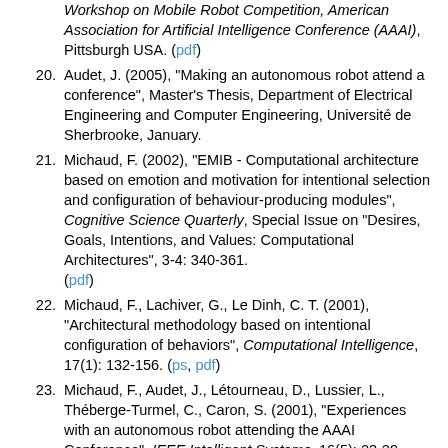(continuation) Workshop on Mobile Robot Competition, American Association for Artificial Intelligence Conference (AAAI), Pittsburgh USA. (pdf)
20. Audet, J. (2005), "Making an autonomous robot attend a conference", Master's Thesis, Department of Electrical Engineering and Computer Engineering, Université de Sherbrooke, January.
21. Michaud, F. (2002), "EMIB - Computational architecture based on emotion and motivation for intentional selection and configuration of behaviour-producing modules", Cognitive Science Quarterly, Special Issue on "Desires, Goals, Intentions, and Values: Computational Architectures", 3-4: 340-361. (pdf)
22. Michaud, F., Lachiver, G., Le Dinh, C. T. (2001), "Architectural methodology based on intentional configuration of behaviors", Computational Intelligence, 17(1): 132-156. (ps, pdf)
23. Michaud, F., Audet, J., Létourneau, D., Lussier, L., Théberge-Turmel, C., Caron, S. (2001), "Experiences with an autonomous robot attending the AAAI Conference", IEEE Intelligent Systems, 16(5): 23-29. (pdf)